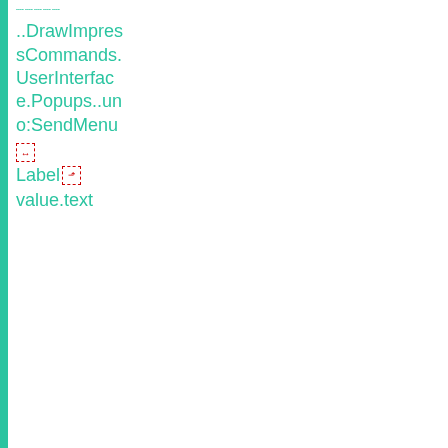.....
..DrawImpressCommands.UserInterface.Popups..uno:SendMenu
[icon] Label[icon] value.text
| DrawImpressCommands.xcu
..DrawImpressCommands.UserInterface.Popups..uno:TemplatesMenu | Styl~es | Styl~e | [copy icon] [link icon] |
| --- | --- | --- | --- |
| Label[icon] |  |  |  |